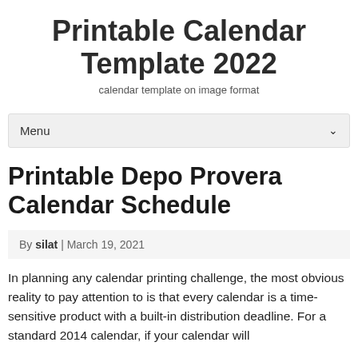Printable Calendar Template 2022
calendar template on image format
Menu
Printable Depo Provera Calendar Schedule
By silat | March 19, 2021
In planning any calendar printing challenge, the most obvious reality to pay attention to is that every calendar is a time-sensitive product with a built-in distribution deadline. For a standard 2014 calendar, if your calendar will